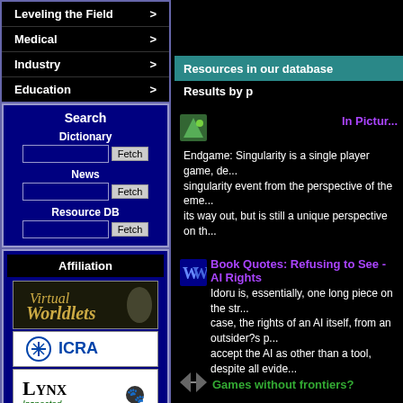Leveling the Field >
Medical >
Industry >
Education >
Search
Dictionary
News
Resource DB
Affiliation
[Figure (logo): Virtual Worldlets logo]
[Figure (logo): ICRA logo]
[Figure (logo): Lynx Inspected logo]
Resources in our database
Results by p
In Pictures
Endgame: Singularity is a single player game, de... singularity event from the perspective of the eme... its way out, but is still a unique perspective on th...
Book Quotes: Refusing to See - AI Rights
Idoru is, essentially, one long piece on the str... case, the rights of an AI itself, from an outsider?s p... accept the AI as other than a tool, despite all evide...
Games without frontiers?